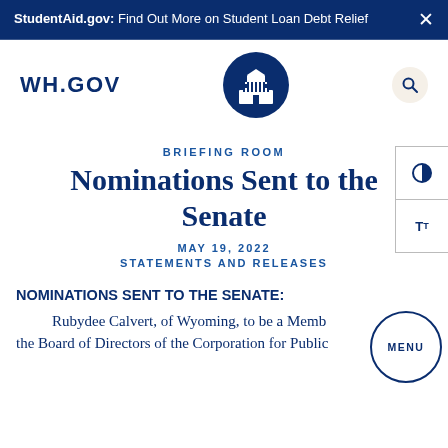StudentAid.gov: Find Out More on Student Loan Debt Relief
[Figure (logo): WH.GOV logo text and White House seal emblem on navy oval, with search icon]
BRIEFING ROOM
Nominations Sent to the Senate
MAY 19, 2022
STATEMENTS AND RELEASES
NOMINATIONS SENT TO THE SENATE:
Rubydee Calvert, of Wyoming, to be a Member of the Board of Directors of the Corporation for Public